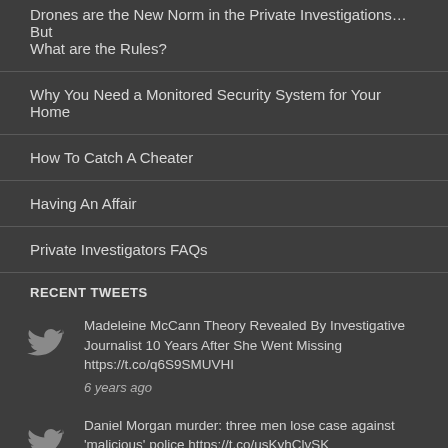Drones are the New Norm in the Private Investigations… But What are the Rules?
Why You Need a Monitored Security System for Your Home
How To Catch A Cheater
Having An Affair
Private Investigators FAQs
RECENT TWEETS
Madeleine McCann Theory Revealed By Investigative Journalist 10 Years After She Went Missing https://t.co/q6S9SMUVHI
6 years ago
Daniel Morgan murder: three men lose case against 'malicious' police https://t.co/usKyhClvSK